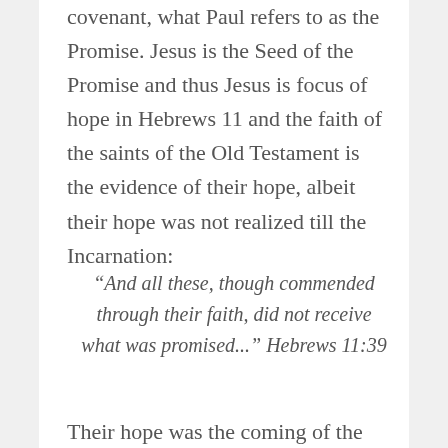covenant, what Paul refers to as the Promise. Jesus is the Seed of the Promise and thus Jesus is focus of hope in Hebrews 11 and the faith of the saints of the Old Testament is the evidence of their hope, albeit their hope was not realized till the Incarnation:
“And all these, though commended through their faith, did not receive what was promised...” Hebrews 11:39
Their hope was the coming of the Seed